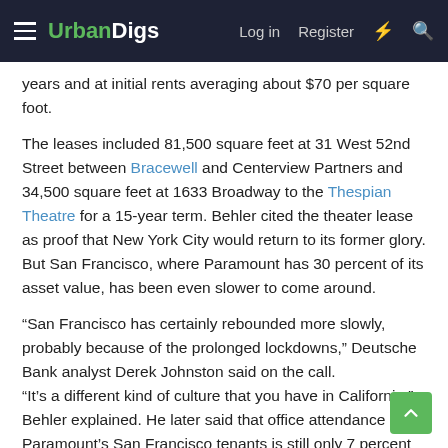UrbanDigs — Log in  Register
years and at initial rents averaging about $70 per square foot.
The leases included 81,500 square feet at 31 West 52nd Street between Bracewell and Centerview Partners and 34,500 square feet at 1633 Broadway to the Thespian Theatre for a 15-year term. Behler cited the theater lease as proof that New York City would return to its former glory. But San Francisco, where Paramount has 30 percent of its asset value, has been even slower to come around.
“San Francisco has certainly rebounded more slowly, probably because of the prolonged lockdowns,” Deutsche Bank analyst Derek Johnston said on the call.
“It’s a different kind of culture that you have in California,” Behler explained. He later said that office attendance by Paramount’s San Francisco tenants is still only 7 percent to 10 percent.
The tech workers who set the tone in the northern California office market are likely to work from home for a while longer. Apple and Google, both based in California, recently delayed the date when it will ask workers to return to the office, and big tech companies are